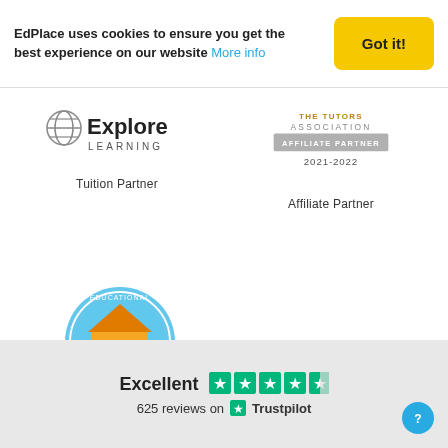EdPlace uses cookies to ensure you get the best experience on our website More info
[Figure (logo): Explore Learning logo with globe icon and text 'LEARNING']
Tuition Partner
[Figure (logo): The Tutors Association Affiliate Partner 2021-2022 badge]
Affiliate Partner
[Figure (logo): EAP Certified badge - circular blue badge with house/star design and orange ribbon]
EAP Certified
Excellent  625 reviews on Trustpilot